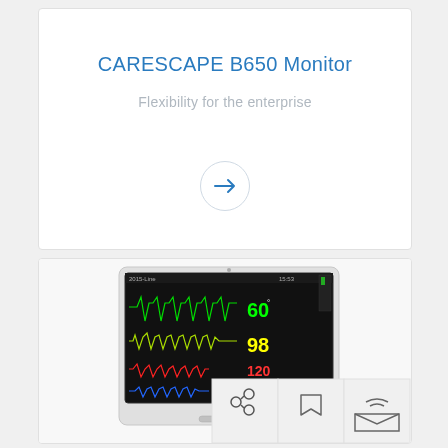CARESCAPE B650 Monitor
Flexibility for the enterprise
[Figure (illustration): Circular arrow button / navigation arrow pointing right]
[Figure (photo): CARESCAPE B650 patient monitor displaying ECG waveforms and vitals including heart rate 60, SpO2 98, blood pressure 120, on a black screen with green, yellow, red, and blue waveforms. Device has white casing with GE logo.]